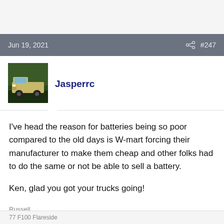Jun 19, 2021    #247
[Figure (photo): Avatar photo of a tan/yellow vintage Ford truck parked outdoors]
Jasperrc
I've head the reason for batteries being so poor compared to the old days is W-mart forcing their manufacturer to make them cheap and other folks had to do the same or not be able to sell a battery.

Ken, glad you got your trucks going!

Russell
77 F100 Flareside